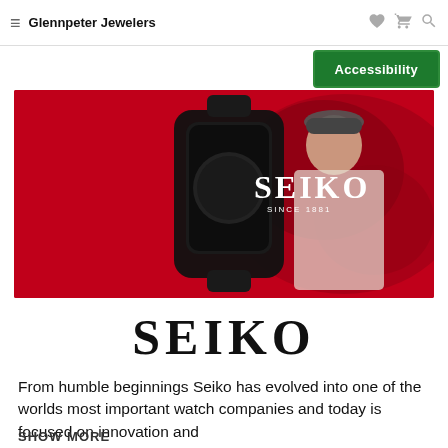Glennpeter Jewelers
Accessibility
[Figure (photo): Seiko brand banner showing a person wearing a cap next to a large black Seiko watch on a red background with the SEIKO SINCE 1881 logo]
SEIKO
From humble beginnings Seiko has evolved into one of the worlds most important watch companies and today is focused on innovation and SHOW MORE